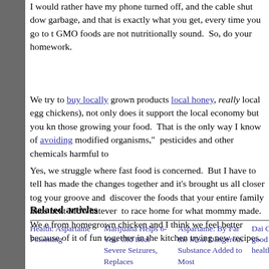I would rather have my phone turned off, and the cable shut down garbage, and that is exactly what you get, every time you go to t GMO foods are not nutritionally sound.  So, do your homework.
We try to buy locally grown products local honey, really local egg chickens), not only does it support the local economy but you kn those growing your food.  That is the only way I know of avoiding modified organisms,"  pesticides and other chemicals harmful to
Yes, we struggle where fast food is concerned.  But I have to tell has made the changes together and it's brought us all closer tog your groove and  discover the foods that your entire family likes next McWhatever  to race home for what mommy made.   We e from homegrown chicken and I think we feel better because of it of fun together in the kitchen trying new recipes.
Related articles
Health: Aspartame Poisoning
Marijuana Helps 6-Year Old Beat Severe Seizures, Replaces
Aspartame: By Far the Most Dangerous Substance Added to Most
Dai Greene credits a good sleep with his health and success
Aspar Poiso Silent